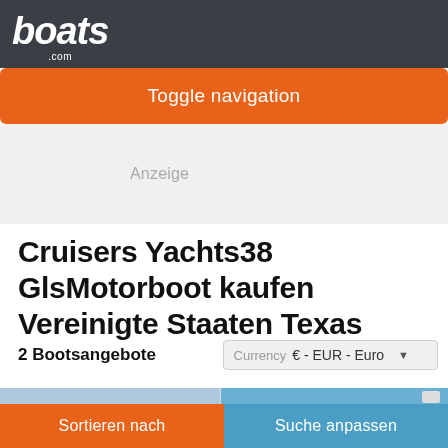boats.com
Toggle navigation
Anzeige
Cruisers Yachts38 GlsMotorboot kaufen Vereinigte Staaten Texas
2 Bootsangebote
Currency € - EUR - Euro
Sortieren nach
Suche anpassen